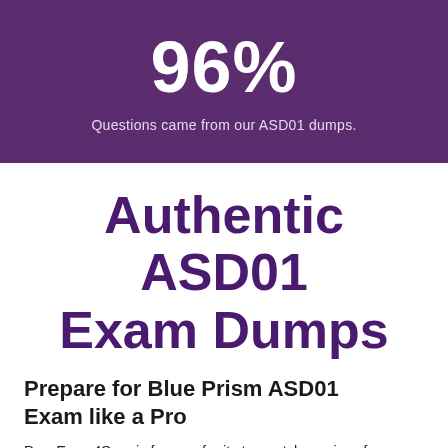[Figure (infographic): Purple banner with large white 96% text and subtitle 'Questions came from our ASD01 dumps.']
Authentic ASD01 Exam Dumps
Prepare for Blue Prism ASD01 Exam like a Pro
PassExam4Sure is famous for its top-notch services for providing the most helpful, accurate, and up-to-date material for Blue Prism ASD01 exam in form of PDFs. Our ASD01 dumps for this particular